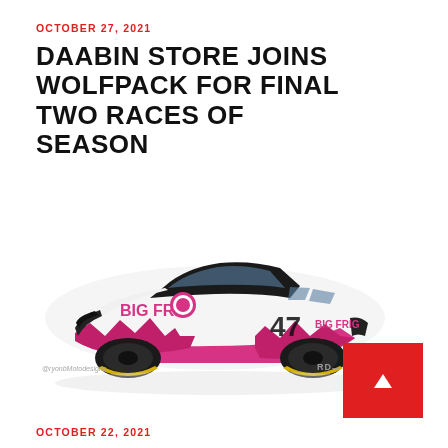OCTOBER 27, 2021
DAABIN STORE JOINS WOLFPACK FOR FINAL TWO RACES OF SEASON
[Figure (photo): Rendering of NASCAR race car #47 with white and pink Big Frig livery, shown in 3/4 front view. The car is a Chevrolet Camaro with pink mountain graphics on the lower body and Big Frig branding on the hood and doors.]
OCTOBER 22, 2021